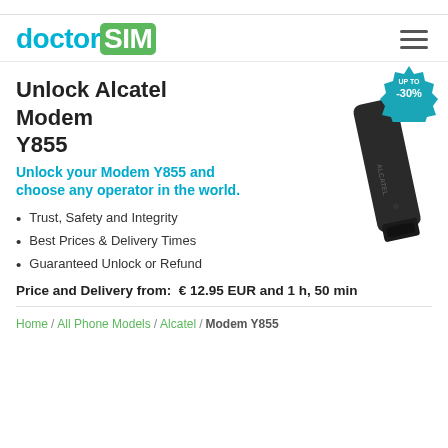doctorSIM
[Figure (logo): doctorSIM logo with teal 'doctor' text and green rounded box with white 'SIM' text]
[Figure (illustration): Alcatel Modem Y855 USB dongle, black, standing upright at angle with ALCATEL text on side. Badge overlay: UP TO -30% in teal starburst.]
Unlock Alcatel Modem Y855
Unlock your Modem Y855 and choose any operator in the world.
Trust, Safety and Integrity
Best Prices & Delivery Times
Guaranteed Unlock or Refund
Price and Delivery from:  € 12.95 EUR and 1 h, 50 min
Home / All Phone Models / Alcatel / Modem Y855